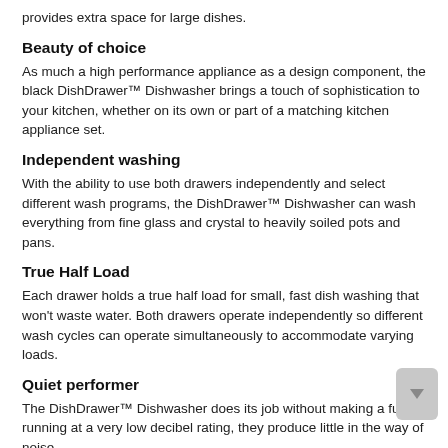provides extra space for large dishes.
Beauty of choice
As much a high performance appliance as a design component, the black DishDrawer™ Dishwasher brings a touch of sophistication to your kitchen, whether on its own or part of a matching kitchen appliance set.
Independent washing
With the ability to use both drawers independently and select different wash programs, the DishDrawer™ Dishwasher can wash everything from fine glass and crystal to heavily soiled pots and pans.
True Half Load
Each drawer holds a true half load for small, fast dish washing that won't waste water. Both drawers operate independently so different wash cycles can operate simultaneously to accommodate varying loads.
Quiet performer
The DishDrawer™ Dishwasher does its job without making a fuss - running at a very low decibel rating, they produce little in the way of noise.